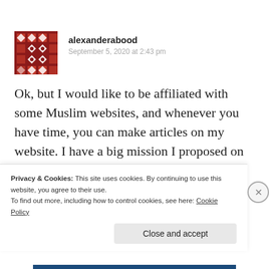alexanderabood
September 5, 2020 at 2:43 pm
Ok, but I would like to be affiliated with some Muslim websites, and whenever you have time, you can make articles on my website. I have a big mission I proposed on myself, and I would like to have a top team who can
Privacy & Cookies: This site uses cookies. By continuing to use this website, you agree to their use.
To find out more, including how to control cookies, see here: Cookie Policy
Close and accept